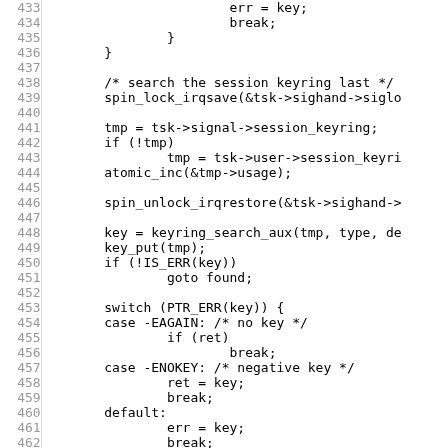[Figure (other): Source code listing lines 433-462 showing C kernel code for session keyring search logic]